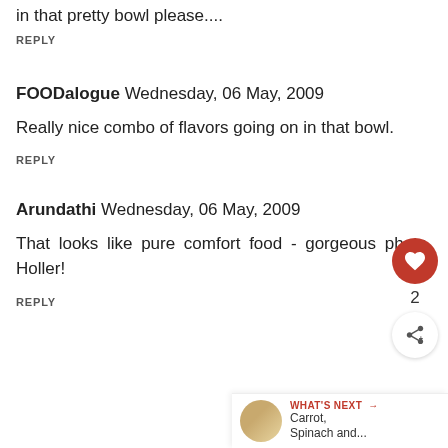in that pretty bowl please....
REPLY
FOODalogue Wednesday, 06 May, 2009
Really nice combo of flavors going on in that bowl.
REPLY
Arundathi Wednesday, 06 May, 2009
That looks like pure comfort food - gorgeous photo, Holler!
REPLY
WHAT'S NEXT → Carrot, Spinach and...